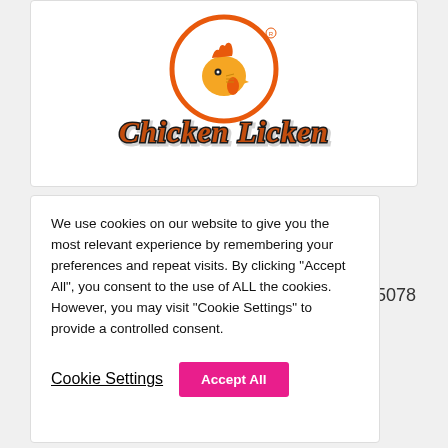[Figure (logo): Chicken Licken logo: orange circle with cartoon rooster head on top, script text 'Chicken Licken' in orange with black shadow below]
We use cookies on our website to give you the most relevant experience by remembering your preferences and repeat visits. By clicking "Accept All", you consent to the use of ALL the cookies. However, you may visit "Cookie Settings" to provide a controlled consent.
5078
Cookie Settings
Accept All